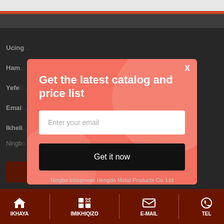[Figure (screenshot): Mobile website screenshot with dark background showing contact form fields partially visible: Ucing..., Ham..., Yefe..., Emai..., Ikheli..., Ningb... text and a red button]
Get the latest catalog and price list
Enter your email
Get it now
Ningbo Innopower Hengda Metal Products Co. Ltd
IKHAYA  IMIKHIQIZO  E-MAIL  TEL